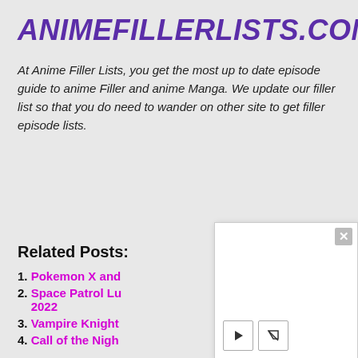ANIMEFILLERLISTS.COM
At Anime Filler Lists, you get the most up to date episode guide to anime Filler and anime Manga. We update our filler list so that you do need to wander on other site to get filler episode lists.
Related Posts:
Pokemon X and... 2
Space Patrol Lu... 2022
Vampire Knight...
Call of the Nigh...
[Figure (screenshot): White popup overlay with close (X) button in top right corner and media control buttons (play and pointer) at the bottom left.]